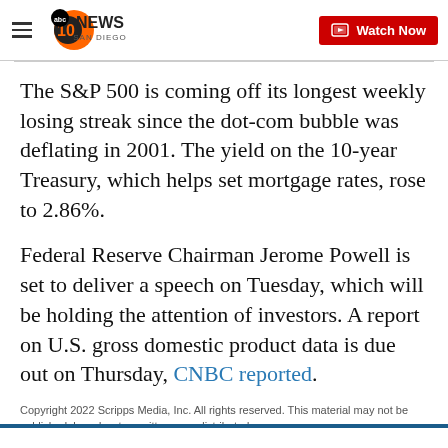10News San Diego | ABC | Watch Now
The S&P 500 is coming off its longest weekly losing streak since the dot-com bubble was deflating in 2001. The yield on the 10-year Treasury, which helps set mortgage rates, rose to 2.86%.
Federal Reserve Chairman Jerome Powell is set to deliver a speech on Tuesday, which will be holding the attention of investors. A report on U.S. gross domestic product data is due out on Thursday, CNBC reported.
Copyright 2022 Scripps Media, Inc. All rights reserved. This material may not be published, broadcast, rewritten, or redistributed.